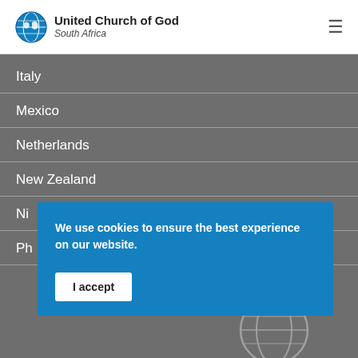United Church of God South Africa
Italy
Mexico
Netherlands
New Zealand
Ni
Ph
We use cookies to ensure the best experience on our website.
I accept